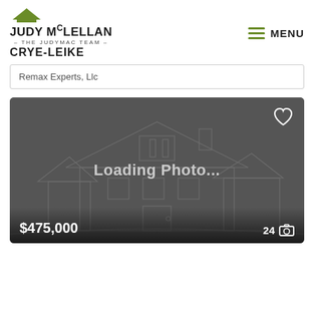[Figure (logo): Judy McLellan - The JudyMac Team - Crye-Leike real estate logo with green roof icon]
MENU
Remax Experts, Llc
[Figure (screenshot): Property listing photo placeholder showing 'Loading Photo...' text over a dark grey background with faint house outline illustration. Price shown as $475,000 with 24 photos indicator.]